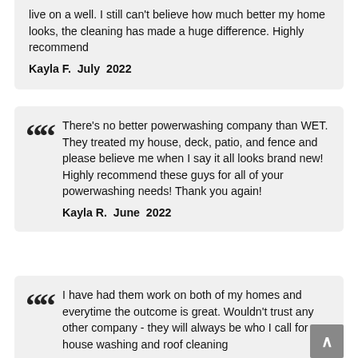live on a well. I still can't believe how much better my home looks, the cleaning has made a huge difference. Highly recommend
Kayla F.  July  2022
There's no better powerwashing company than WET. They treated my house, deck, patio, and fence and please believe me when I say it all looks brand new! Highly recommend these guys for all of your powerwashing needs! Thank you again!
Kayla R.  June  2022
I have had them work on both of my homes and everytime the outcome is great. Wouldn't trust any other company - they will always be who I call for house washing and roof cleaning